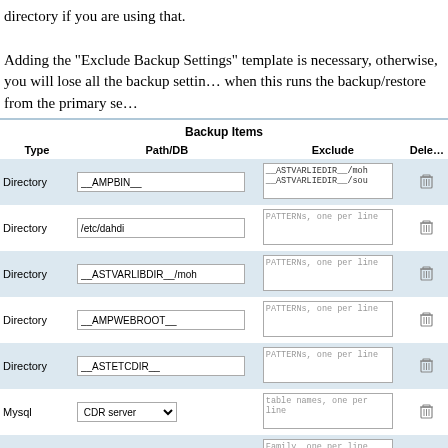directory if you are using that.

Adding the "Exclude Backup Settings" template is necessary, otherwise, you will lose all the backup settings when this runs the backup/restore from the primary se…
| Type | Path/DB | Exclude | Delete |
| --- | --- | --- | --- |
| Directory | __AMPBIN__ | __ASTVARLIEDIR__/moh
__ASTVARLIEDIR__/sou |  |
| Directory | /etc/dahdi | PATTERNs, one per line |  |
| Directory | __ASTVARLIBDIR__/moh | PATTERNs, one per line |  |
| Directory | __AMPWEBROOT__ | PATTERNs, one per line |  |
| Directory | __ASTETCDIR__ | PATTERNs, one per line |  |
| Mysql | CDR server | table names, one per line |  |
| Asterisk DB |  | Family, one per line |  |
|  |  | backup
backup_cache
backup_details
… |  |